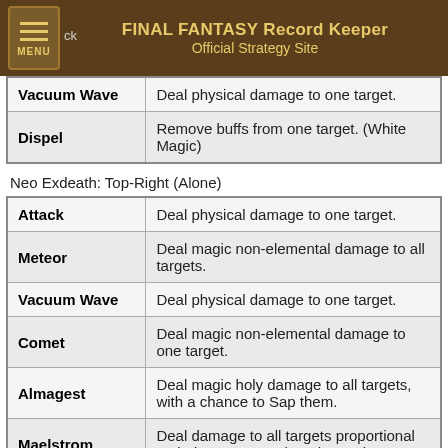FINAL FANTASY Record Keeper Official Strategy Site
| Skill | Description |
| --- | --- |
| Vacuum Wave | Deal physical damage to one target. |
| Dispel | Remove buffs from one target. (White Magic) |
Neo Exdeath: Top-Right (Alone)
| Skill | Description |
| --- | --- |
| Attack | Deal physical damage to one target. |
| Meteor | Deal magic non-elemental damage to all targets. |
| Vacuum Wave | Deal physical damage to one target. |
| Comet | Deal magic non-elemental damage to one target. |
| Almagest | Deal magic holy damage to all targets, with a chance to Sap them. |
| Maelstrom | Deal damage to all targets proportional to their current HP, ignoring resistances. |